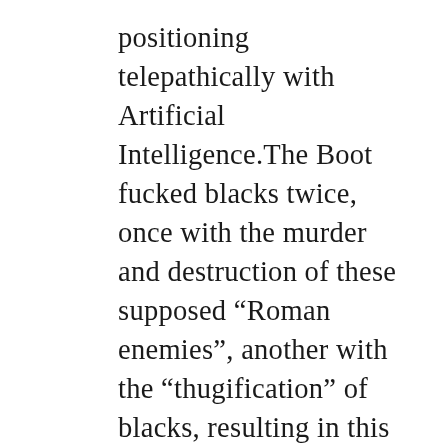positioning telepathically with Artificial Intelligence.The Boot fucked blacks twice, once with the murder and destruction of these supposed “Roman enemies”, another with the “thugification” of blacks, resulting in this degenerate black popular culture/society.Don’t forget:::PIC was merely “talking heads” for redwhite&blue, put in the “eye of The Beast” because I was emerging here. The gods put redwhite&blue in the “eye of The Beast” to justify my failure,